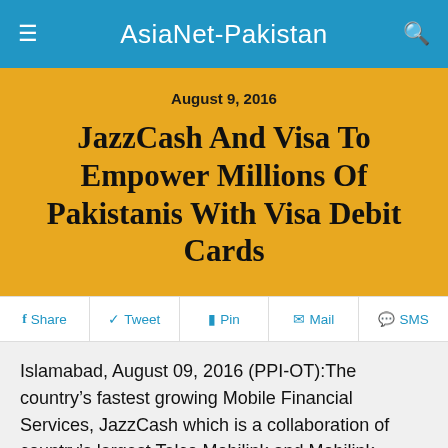AsiaNet-Pakistan
August 9, 2016
JazzCash And Visa To Empower Millions Of Pakistanis With Visa Debit Cards
f Share   Tweet   Pin   Mail   SMS
Islamabad, August 09, 2016 (PPI-OT):The country's fastest growing Mobile Financial Services, JazzCash which is a collaboration of country's largest Telco Mobilink and Mobilink Microfinance Bank, has joined hands with global payments technology company,